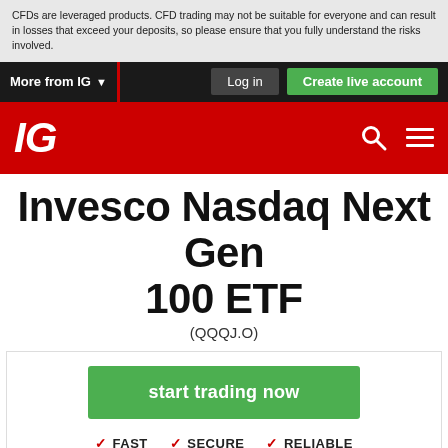CFDs are leveraged products. CFD trading may not be suitable for everyone and can result in losses that exceed your deposits, so please ensure that you fully understand the risks involved.
More from IG  Log in  Create live account
[Figure (logo): IG logo in white italic text on red background with search and hamburger menu icons]
Invesco Nasdaq Next Gen 100 ETF (QQQJ.O)
start trading now
✓ FAST  ✓ SECURE  ✓ RELIABLE